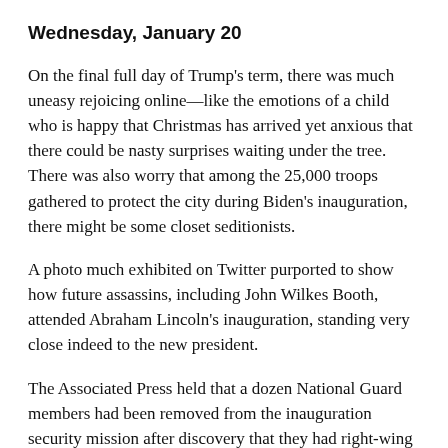Wednesday, January 20
On the final full day of Trump's term, there was much uneasy rejoicing online—like the emotions of a child who is happy that Christmas has arrived yet anxious that there could be nasty surprises waiting under the tree. There was also worry that among the 25,000 troops gathered to protect the city during Biden's inauguration, there might be some closet seditionists.
A photo much exhibited on Twitter purported to show how future assassins, including John Wilkes Booth, attended Abraham Lincoln's inauguration, standing very close indeed to the new president.
The Associated Press held that a dozen National Guard members had been removed from the inauguration security mission after discovery that they had right-wing militias or had expressed extremist views online